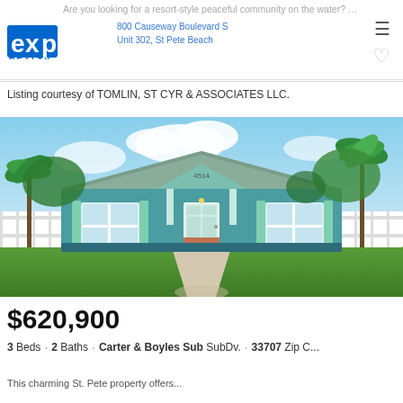Are you looking for a resort-style peaceful community on the water? You foun...
[Figure (logo): eXp Realty logo — blue 'exp' with 'REALTY' in smaller text below]
800 Causeway Boulevard S
Unit 302, St Pete Beach
Listing courtesy of TOMLIN, ST CYR & ASSOCIATES LLC.
[Figure (photo): Exterior photo of a teal/turquoise bungalow-style single-family home with light green shutters, front porch, curved concrete walkway, manicured lawn, palm trees, and white vinyl fence on both sides.]
$620,900
3 Beds · 2 Baths · Carter & Boyles Sub SubDv. · 33707 Zip C...
This charming St. Pete property offers...